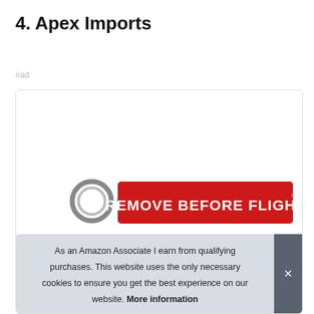4. Apex Imports
#ad
[Figure (photo): Product photo of a red 'REMOVE BEFORE FLIGHT' keychain tag, shown twice (front and back or stacked), with a metal keyring on the left side. Displayed inside a white card/box with a light grey border.]
As an Amazon Associate I earn from qualifying purchases. This website uses the only necessary cookies to ensure you get the best experience on our website. More information